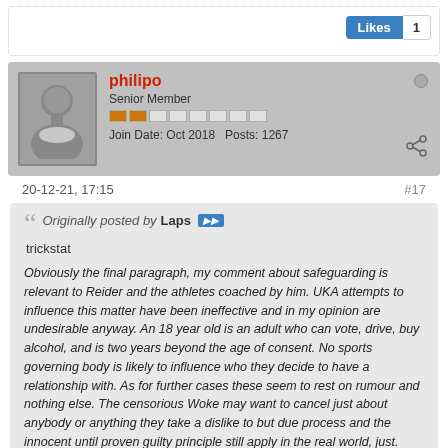[Figure (screenshot): Likes button showing count of 1]
philipo
Senior Member
Join Date: Oct 2018   Posts: 1267
20-12-21, 17:15
#17
Originally posted by Laps
trickstat

Obviously the final paragraph, my comment about safeguarding is relevant to Reider and the athletes coached by him. UKA attempts to influence this matter have been ineffective and in my opinion are undesirable anyway. An 18 year old is an adult who can vote, drive, buy alcohol, and is two years beyond the age of consent. No sports governing body is likely to influence who they decide to have a relationship with. As for further cases these seem to rest on rumour and nothing else. The censorious Woke may want to cancel just about anybody or anything they take a dislike to but due process and the innocent until proven guilty principle still apply in the real world, just.